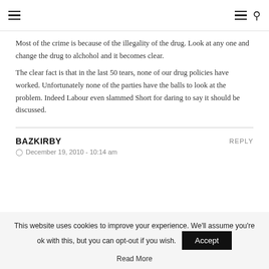Navigation header with hamburger menus and search icon
Most of the crime is because of the illegality of the drug. Look at any one and change the drug to alchohol and it becomes clear.
The clear fact is that in the last 50 tears, none of our drug policies have worked. Unfortunately none of the parties have the balls to look at the problem. Indeed Labour even slammed Short for daring to say it should be discussed.
BAZKIRBY
December 19, 2010 - 10:14 am
This website uses cookies to improve your experience. We'll assume you're ok with this, but you can opt-out if you wish.
Read More